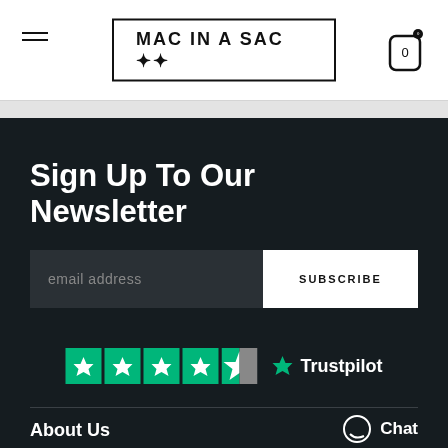MAC IN A SAC
Sign Up To Our Newsletter
email address
SUBSCRIBE
[Figure (logo): Trustpilot logo with 4.5 green stars rating]
About Us
Chat